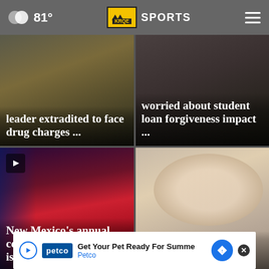81° KRQE SPORTS
[Figure (screenshot): News card: drug cartel leader extradited to face drug charges ...]
[Figure (screenshot): News card: worried about student loan forgiveness impact ...]
[Figure (photo): Performer singing on stage with red costume - New Mexico's annual celebration ¡Globalquerque! is ...]
[Figure (photo): Blonde woman smiling - Police 'believe' body found by ... at ...]
Get Your Pet Ready For Summe
Petco